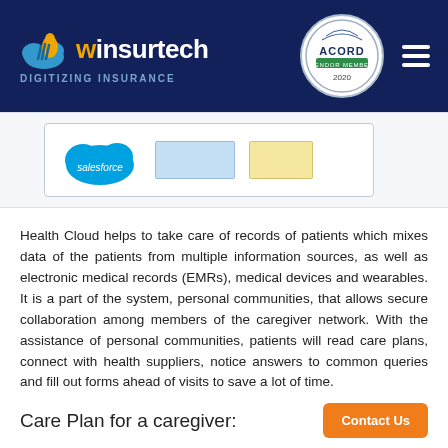winsurtech DIGITIZING INSURANCE | ACORD VENDOR MEMBER 2020
[Figure (screenshot): Partial screenshot showing a Salesforce logo cloud icon on white background, with light blue and yellow placeholder rectangles representing a software interface diagram.]
Health Cloud helps to take care of records of patients which mixes data of the patients from multiple information sources, as well as electronic medical records (EMRs), medical devices and wearables. It is a part of the system, personal communities, that allows secure collaboration among members of the caregiver network. With the assistance of personal communities, patients will read care plans, connect with health suppliers, notice answers to common queries and fill out forms ahead of visits to save a lot of time.
Care Plan for a caregiver: